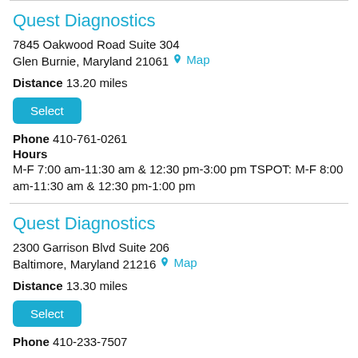Quest Diagnostics
7845 Oakwood Road Suite 304
Glen Burnie, Maryland 21061 Map
Distance 13.20 miles
Select
Phone 410-761-0261
Hours
M-F 7:00 am-11:30 am & 12:30 pm-3:00 pm TSPOT: M-F 8:00 am-11:30 am & 12:30 pm-1:00 pm
Quest Diagnostics
2300 Garrison Blvd Suite 206
Baltimore, Maryland 21216 Map
Distance 13.30 miles
Select
Phone 410-233-7507